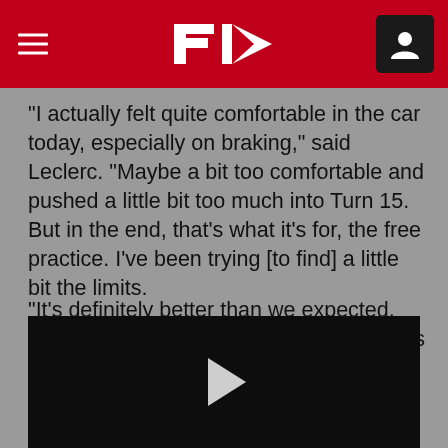F1 header navigation bar
“I actually felt quite comfortable in the car today, especially on braking,” said Leclerc. “Maybe a bit too comfortable and pushed a little bit too much into Turn 15. But in the end, that’s what it’s for, the free practice. I’ve been trying [to find] a little bit the limits.
“It’s definitely better than we expected, but it’s only FP1 and FP2. The pace looks promising. Now we’ll keep on working during the night and hopefully we’ll be as competitive tomorrow.”
[Figure (screenshot): Video thumbnail with play button on dark background]